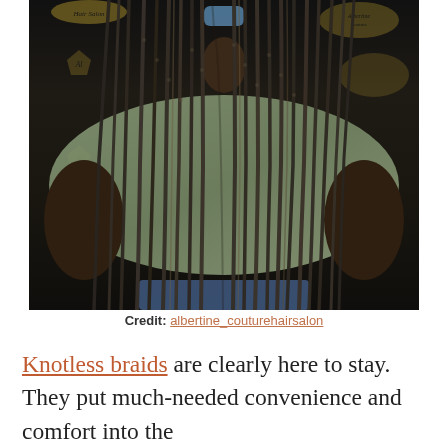[Figure (photo): Person shown from behind displaying long knotless box braids, dark brown/black in color with some lighter highlights, reaching to waist length. Person is wearing a graphic tee and standing in front of a dark background with salon signage including 'Hair Salon' text and decorative gold badge logos.]
Credit: albertine_couturehairsalon
Knotless braids are clearly here to stay. They put much-needed convenience and comfort into the